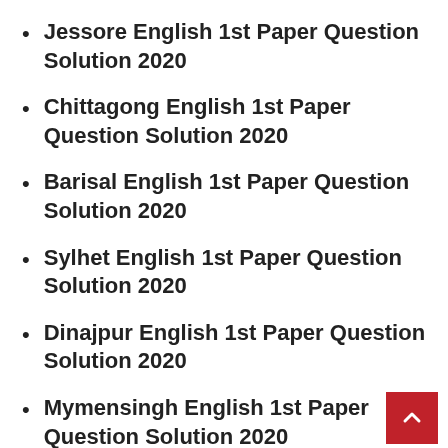Jessore English 1st Paper Question Solution 2020
Chittagong English 1st Paper Question Solution 2020
Barisal English 1st Paper Question Solution 2020
Sylhet English 1st Paper Question Solution 2020
Dinajpur English 1st Paper Question Solution 2020
Mymensingh English 1st Paper Question Solution 2020
Madrasah – dhakil English 1st Paper Question Solution 2020